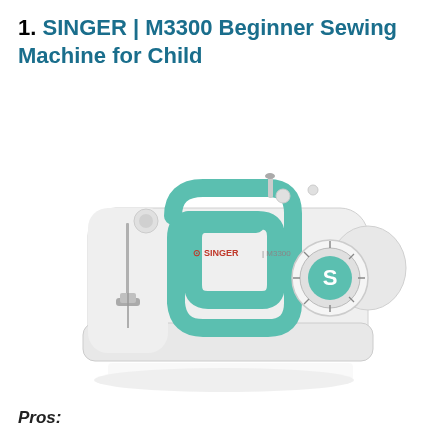1. SINGER | M3300 Beginner Sewing Machine for Child
[Figure (photo): SINGER M3300 sewing machine in white with teal/mint green accent arm, stitch selector dial on the right side with 'S' logo, presser foot on the left, set against a white background with a subtle shadow/reflection below.]
Pros: